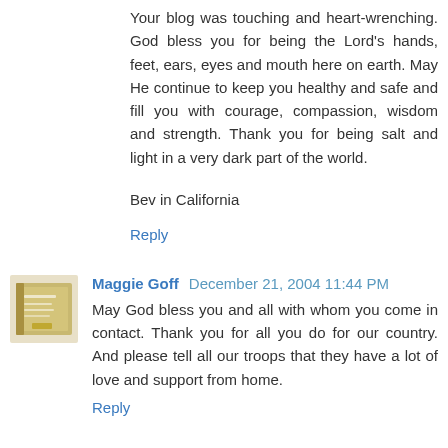Your blog was touching and heart-wrenching. God bless you for being the Lord's hands, feet, ears, eyes and mouth here on earth. May He continue to keep you healthy and safe and fill you with courage, compassion, wisdom and strength. Thank you for being salt and light in a very dark part of the world.
Bev in California
Reply
Maggie Goff  December 21, 2004 11:44 PM
May God bless you and all with whom you come in contact. Thank you for all you do for our country. And please tell all our troops that they have a lot of love and support from home.
Reply
Love My Marine  December 21, 2004 11:47 PM
Chaplain: